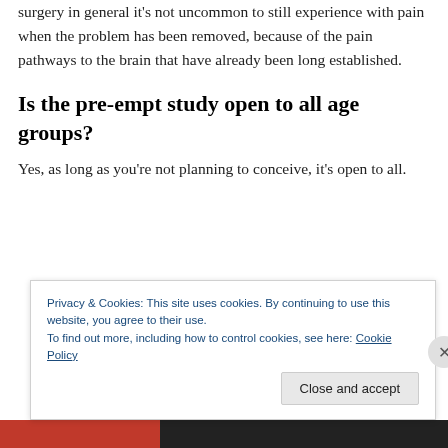but to give you an idea, it estimates up to 60%. After surgery in general it's not uncommon to still experience with pain when the problem has been removed, because of the pain pathways to the brain that have already been long established.
Is the pre-empt study open to all age groups?
Yes, as long as you’re not planning to conceive, it’s open to all.
Privacy & Cookies: This site uses cookies. By continuing to use this website, you agree to their use.
To find out more, including how to control cookies, see here: Cookie Policy
Close and accept